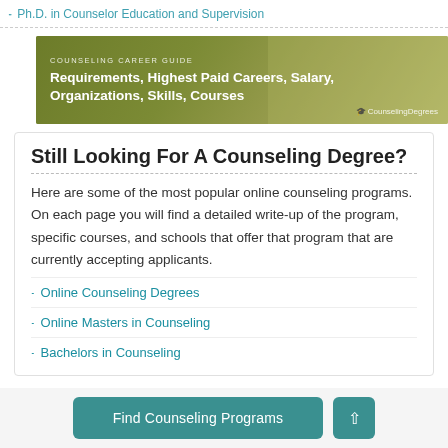Ph.D. in Counselor Education and Supervision
[Figure (illustration): Counseling Career Guide banner with olive/green background showing text: COUNSELING CAREER GUIDE, Requirements, Highest Paid Careers, Salary, Organizations, Skills, Courses, CounselingDegrees logo]
Still Looking For A Counseling Degree?
Here are some of the most popular online counseling programs. On each page you will find a detailed write-up of the program, specific courses, and schools that offer that program that are currently accepting applicants.
Online Counseling Degrees
Online Masters in Counseling
Bachelors in Counseling
Find Counseling Programs